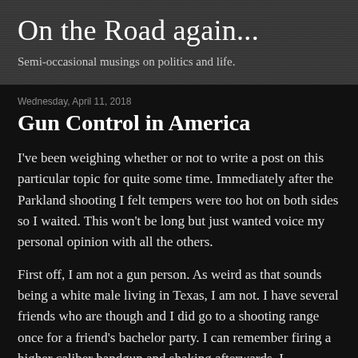On the Road again...
Semi-occasional musings on politics and life.
Wednesday, April 11, 2018
Gun Control in America
I've been weighing whether or not to write a post on this particular topic for quite some time. Immediately after the Parkland shooting I felt tempers were too hot on both sides so I waited. This won't be long but just wanted voice my personal opinion with all the others.
First off, I am not a gun person. As weird as that sounds being a white male living in Texas, I am not. I have several friends who are though and I did go to a shooting range once for a friend's bachelor party. I can remember firing a higher caliber handgun and shaking afterwards. I remember